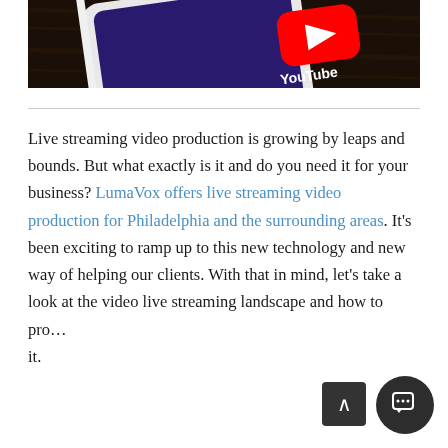[Figure (photo): Close-up photo of a smartphone showing the YouTube app icon on a dark purple/blue background, placed on a dark wooden surface. The YouTube logo (red play button) and 'YouTube' text are visible in the upper right corner of the phone screen.]
Live streaming video production is growing by leaps and bounds. But what exactly is it and do you need it for your business? LumaVox offers live streaming video production for Philadelphia and the surrounding areas. It's been exciting to ramp up to this new technology and new way of helping our clients. With that in mind, let's take a look at the video live streaming landscape and how to prove it.